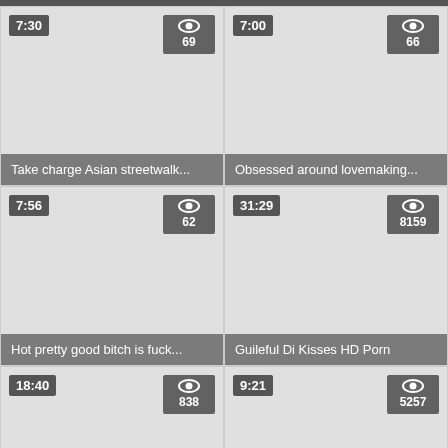[Figure (screenshot): Video thumbnail card: duration 7:30, 69 views, title 'Take charge Asian streetwalk...']
[Figure (screenshot): Video thumbnail card: duration 7:00, 66 views, title 'Obsessed around lovemaking...']
[Figure (screenshot): Video thumbnail card: duration 7:56, 62 views, title 'Hot pretty good bitch is fuck...']
[Figure (screenshot): Video thumbnail card: duration 31:29, 8159 views, title 'Guileful Di Kisses HD Porn']
[Figure (screenshot): Video thumbnail card: duration 18:40, 838 views, no title visible]
[Figure (screenshot): Video thumbnail card: duration 9:21, 5257 views, back-to-top arrow visible]